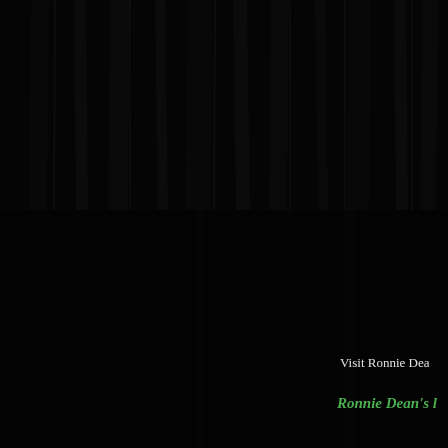[Figure (photo): Dark theatrical curtain backdrop — vertical black fabric folds filling the upper portion of the page, appearing as a stage curtain with subtle texture variations]
Visit Ronnie Dea
Ronnie Dean's l